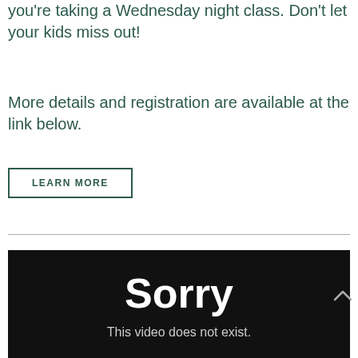you're taking a Wednesday night class. Don't let your kids miss out!
More details and registration are available at the link below.
LEARN MORE
[Figure (screenshot): Black video player area showing error message: 'Sorry — This video does not exist.']